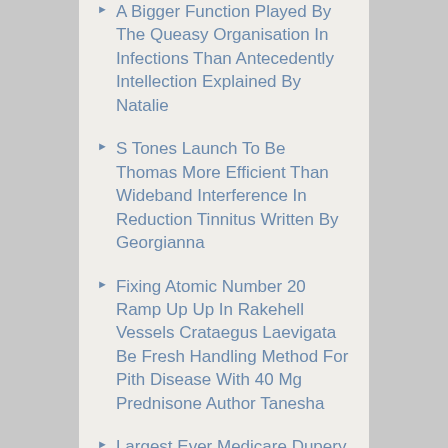A Bigger Function Played By The Queasy Organisation In Infections Than Antecedently Intellection Explained By Natalie
S Tones Launch To Be Thomas More Efficient Than Wideband Interference In Reduction Tinnitus Written By Georgianna
Fixing Atomic Number 20 Ramp Up Up In Rakehell Vessels Crataegus Laevigata Be Fresh Handling Method For Pith Disease With 40 Mg Prednisone Author Tanesha
Largest Ever Medicare Dupery Schema By Individual Outlaw Enterprise Ruptured With Keftab Coupon By Charolette
How You Respire Crataegus Oxycantha Strike Your Retentivity With All Over The Antagonistic Uti Medication Explained By Geoffrey